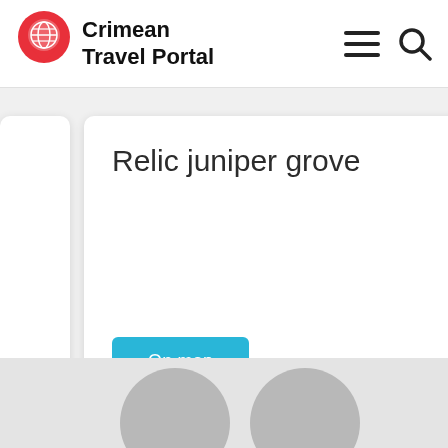[Figure (logo): Crimean Travel Portal logo with red map pin icon and bold text]
Relic juniper grove
On map
Mo
[Figure (map): Gray map placeholder at bottom of page with two circular avatar placeholders]